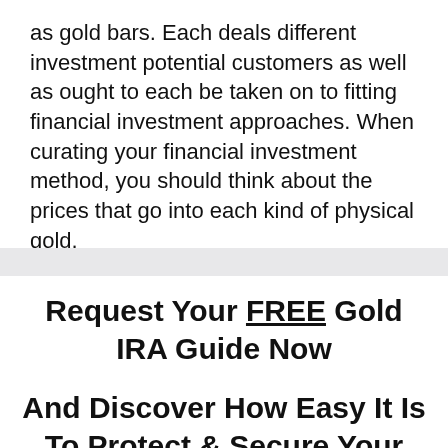as gold bars. Each deals different investment potential customers as well as ought to each be taken on to fitting financial investment approaches. When curating your financial investment method, you should think about the prices that go into each kind of physical gold.
Request Your FREE Gold IRA Guide Now
And Discover How Easy It Is To Protect & Secure Your Retirement Savings...